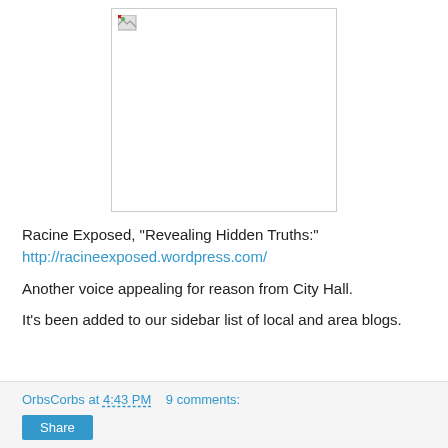[Figure (photo): Broken/missing image placeholder with small broken-image icon in top-left corner]
Racine Exposed, "Revealing Hidden Truths:"
http://racineexposed.wordpress.com/
Another voice appealing for reason from City Hall.
It's been added to our sidebar list of local and area blogs.
OrbsCorbs at 4:43 PM   9 comments: